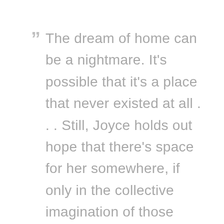“The dream of home can be a nightmare. It’s possible that it’s a place that never existed at all . . . Still, Joyce holds out hope that there’s space for her somewhere, if only in the collective imagination of those marginalized in their homeland.